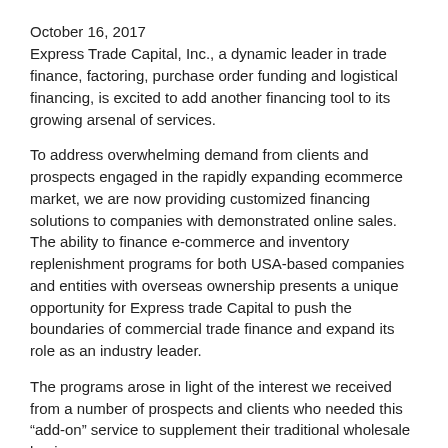October 16, 2017
Express Trade Capital, Inc., a dynamic leader in trade finance, factoring, purchase order funding and logistical financing, is excited to add another financing tool to its growing arsenal of services.
To address overwhelming demand from clients and prospects engaged in the rapidly expanding ecommerce market, we are now providing customized financing solutions to companies with demonstrated online sales. The ability to finance e-commerce and inventory replenishment programs for both USA-based companies and entities with overseas ownership presents a unique opportunity for Express trade Capital to push the boundaries of commercial trade finance and expand its role as an industry leader.
The programs arose in light of the interest we received from a number of prospects and clients who needed this “add-on” service to supplement their traditional wholesale business